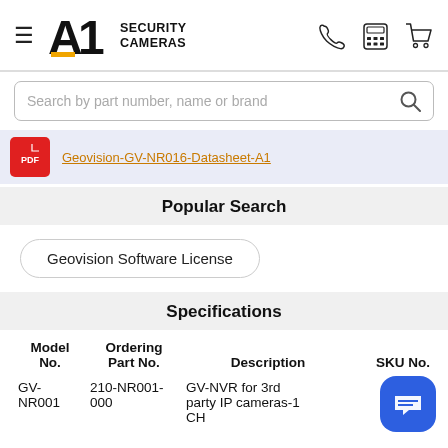A1 Security Cameras
Search by part number, name or brand
[Figure (other): PDF icon link to Geovision-GV-NR016-Datasheet-A1]
Geovision-GV-NR016-Datasheet-A1
Popular Search
Geovision Software License
Specifications
| Model No. | Ordering Part No. | Description | SKU No. |
| --- | --- | --- | --- |
| GV-NR001 | 210-NR001-000 | GV-NVR for 3rd party IP cameras-1 CH | 55 NR... 000 |